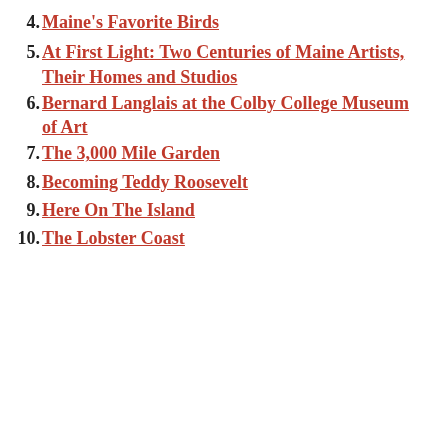4. Maine's Favorite Birds
5. At First Light: Two Centuries of Maine Artists, Their Homes and Studios
6. Bernard Langlais at the Colby College Museum of Art
7. The 3,000 Mile Garden
8. Becoming Teddy Roosevelt
9. Here On The Island
10. The Lobster Coast